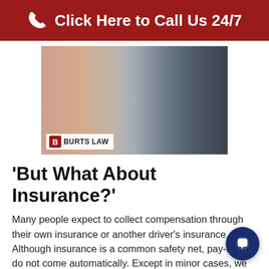Click Here to Call Us 24/7
[Figure (photo): Woman holding her head in distress at the scene of a car accident with a damaged dark-colored car in the background. Burts Law logo in the bottom left corner of the image.]
'But What About Insurance?'
Many people expect to collect compensation through their own insurance or another driver's insurance. Although insurance is a common safety net, pay-outs do not come automatically. Except in minor cases, we do not normally recommend that private individuals navigate the insurance pathway to recovery on their own. The reason is simple: We know from experience